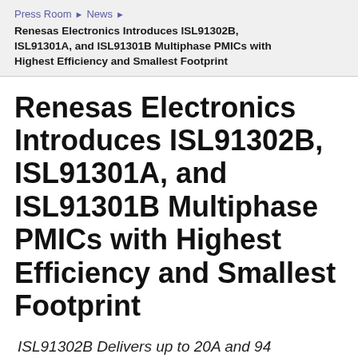Press Room ▶ News ▶
Renesas Electronics Introduces ISL91302B, ISL91301A, and ISL91301B Multiphase PMICs with Highest Efficiency and Smallest Footprint
Renesas Electronics Introduces ISL91302B, ISL91301A, and ISL91301B Multiphase PMICs with Highest Efficiency and Smallest Footprint
ISL91302B Delivers up to 20A and 94 Percent Peak Efficiency in 70mm2 Solution